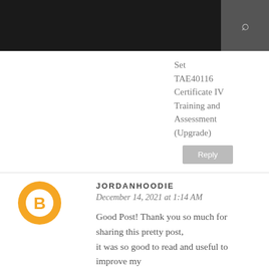Set
TAE40116 Certificate IV Training and Assessment (Upgrade)
Reply
JORDANHOODIE
December 14, 2021 at 1:14 AM
Good Post! Thank you so much for sharing this pretty post, it was so good to read and useful to improve my